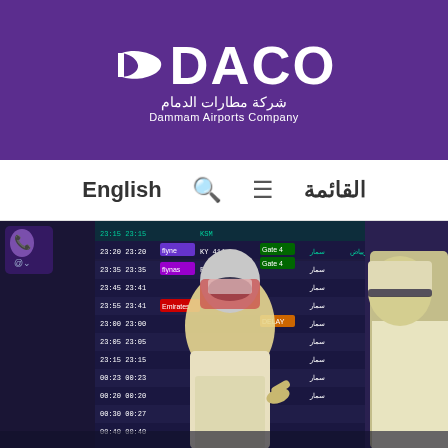[Figure (logo): DACO - Dammam Airports Company logo with purple background, white stylized D icon and DACO text, Arabic subtitle شركة مطارات الدمام and English subtitle Dammam Airports Company]
English  🔍  ≡  القائمة
[Figure (photo): Two men in traditional Saudi dress (thobe and ghutra) viewed from behind, looking at a large airport flight information display board showing flight schedules]